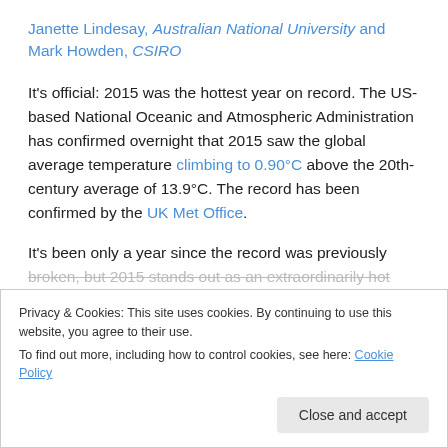Janette Lindesay, Australian National University and Mark Howden, CSIRO
It's official: 2015 was the hottest year on record. The US-based National Oceanic and Atmospheric Administration has confirmed overnight that 2015 saw the global average temperature climbing to 0.90°C above the 20th-century average of 13.9°C. The record has been confirmed by the UK Met Office.
It's been only a year since the record was previously broken, but 2015 stands out as an extraordinarily hot year
Privacy & Cookies: This site uses cookies. By continuing to use this website, you agree to their use.
To find out more, including how to control cookies, see here: Cookie Policy